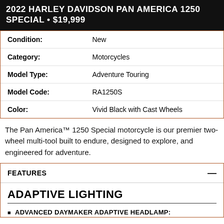2022 HARLEY DAVIDSON PAN AMERICA 1250 SPECIAL • $19,999
| Field | Value |
| --- | --- |
| Condition: | New |
| Category: | Motorcycles |
| Model Type: | Adventure Touring |
| Model Code: | RA1250S |
| Color: | Vivid Black with Cast Wheels |
The Pan America™ 1250 Special motorcycle is our premier two-wheel multi-tool built to endure, designed to explore, and engineered for adventure.
FEATURES
ADAPTIVE LIGHTING
ADVANCED DAYMAKER ADAPTIVE HEADLAMP: